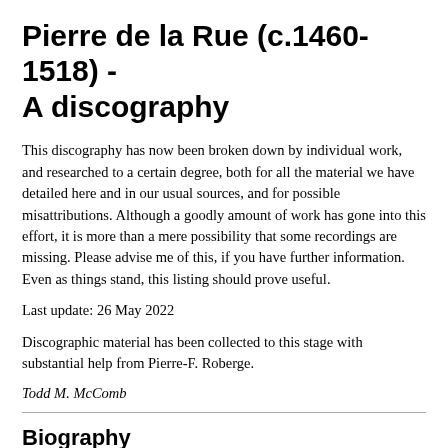Pierre de la Rue (c.1460-1518) - A discography
This discography has now been broken down by individual work, and researched to a certain degree, both for all the material we have detailed here and in our usual sources, and for possible misattributions. Although a goodly amount of work has gone into this effort, it is more than a mere possibility that some recordings are missing. Please advise me of this, if you have further information. Even as things stand, this listing should prove useful.
Last update: 26 May 2022
Discographic material has been collected to this stage with substantial help from Pierre-F. Roberge.
Todd M. McComb
Biography
Pierre de la Rue (c.1460-1518) was the leading composer at the court of...